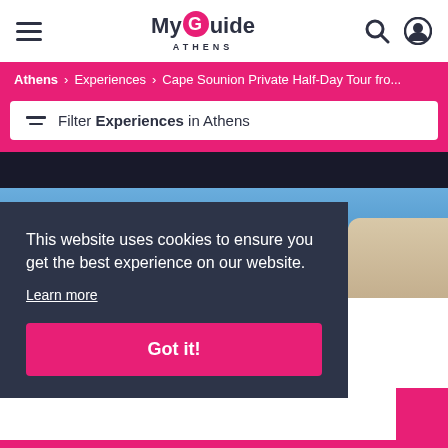MyGuide ATHENS
Athens > Experiences > Cape Sounion Private Half-Day Tour fro...
Filter Experiences in Athens
[Figure (photo): Outdoor photo showing blue sky and rocky landscape at Cape Sounion]
This website uses cookies to ensure you get the best experience on our website.
Learn more
Got it!